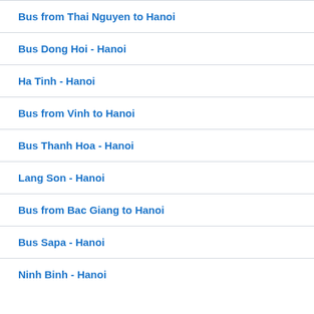Bus from Thai Nguyen to Hanoi
Bus Dong Hoi - Hanoi
Ha Tinh - Hanoi
Bus from Vinh to Hanoi
Bus Thanh Hoa - Hanoi
Lang Son - Hanoi
Bus from Bac Giang to Hanoi
Bus Sapa - Hanoi
Ninh Binh - Hanoi